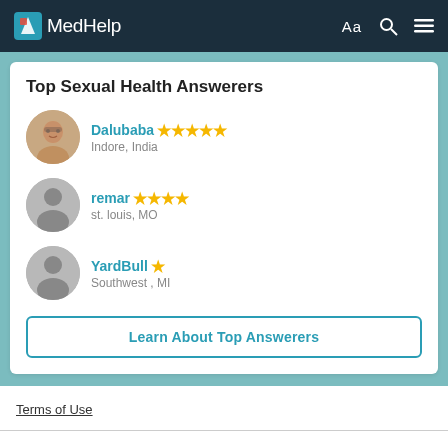MedHelp
Top Sexual Health Answerers
Dalubaba ★★★★★ Indore, India
remar ★★★★ st. louis, MO
YardBull ★ Southwest , MI
Learn About Top Answerers
Terms of Use